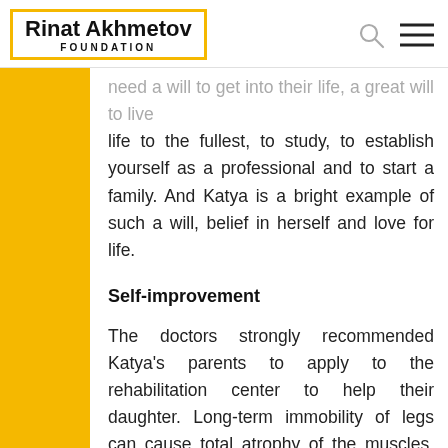Rinat Akhmetov FOUNDATION
need a will to get into their life, a great will to live life to the fullest, to study, to establish yourself as a professional and to start a family. And Katya is a bright example of such a will, belief in herself and love for life.
Self-improvement
The doctors strongly recommended Katya's parents to apply to the rehabilitation center to help their daughter. Long-term immobility of legs can cause total atrophy of the muscles. The muscles need to be kept sharp day by day in order for Katya is able to walk one day.